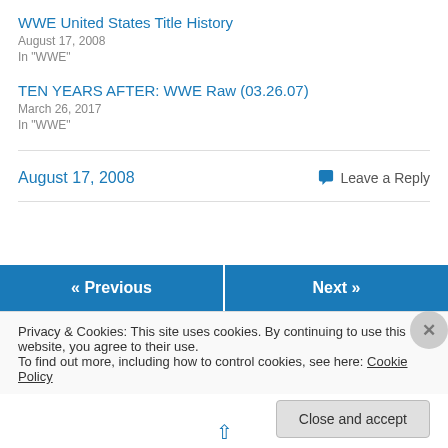WWE United States Title History
August 17, 2008
In "WWE"
TEN YEARS AFTER: WWE Raw (03.26.07)
March 26, 2017
In "WWE"
August 17, 2008
Leave a Reply
« Previous
Next »
Privacy & Cookies: This site uses cookies. By continuing to use this website, you agree to their use.
To find out more, including how to control cookies, see here: Cookie Policy
Close and accept